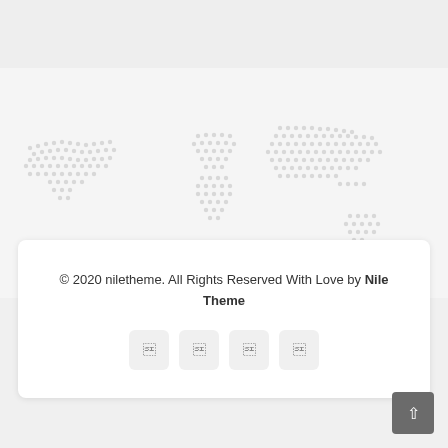[Figure (map): World map background shown as a dotted/halftone pattern in light gray on a slightly lighter gray background]
© 2020 niletheme. All Rights Reserved With Love by Nile Theme
[Figure (other): Four social media icon buttons in light gray rounded rectangles]